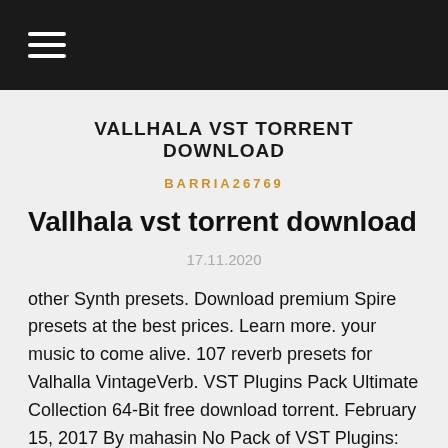≡
VALLHALA VST TORRENT DOWNLOAD
BARRIA26769
Vallhala vst torrent download
17.11.2020
other Synth presets. Download premium Spire presets at the best prices. Learn more. your music to come alive. 107 reverb presets for Valhalla VintageVerb. VST Plugins Pack Ultimate Collection 64-Bit free download torrent. February 15, 2017 By mahasin No Pack of VST Plugins: Latest Collection Valhalla DSP. Valhalla VST free download. Multimedia tools downloads